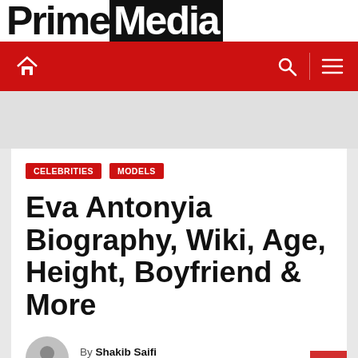Prime Media
[Figure (screenshot): Red navigation bar with white home icon on left and search/menu icons on right]
CELEBRITIES   MODELS
Eva Antonyia Biography, Wiki, Age, Height, Boyfriend & More
By Shakib Saifi